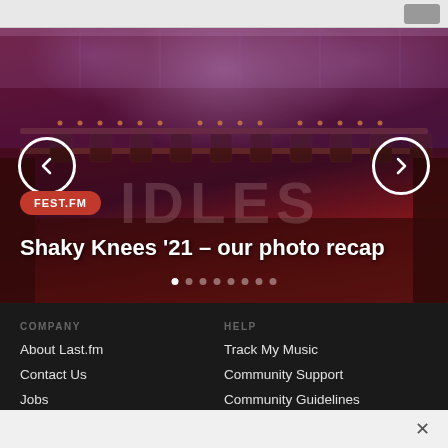Browser navigation bar
[Figure (photo): Concert stage photo with red/purple lighting showing IDLES banner, stage lighting rigs, and festival atmosphere for Shaky Knees '21 on FEST.FM]
Shaky Knees '21 – our photo recap
FEST.FM
COMPANY
About Last.fm
Contact Us
Jobs
HELP
Track My Music
Community Support
Community Guidelines
Help
×